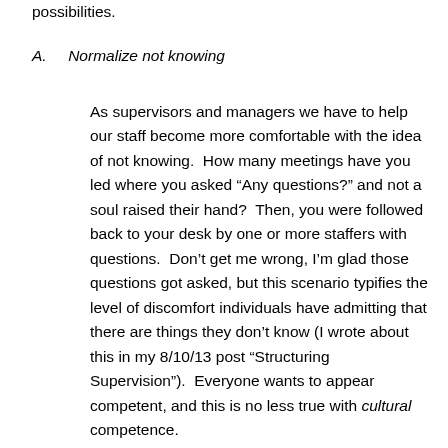possibilities.
A.    Normalize not knowing
As supervisors and managers we have to help our staff become more comfortable with the idea of not knowing.  How many meetings have you led where you asked “Any questions?” and not a soul raised their hand?  Then, you were followed back to your desk by one or more staffers with questions.  Don’t get me wrong, I’m glad those questions got asked, but this scenario typifies the level of discomfort individuals have admitting that there are things they don’t know (I wrote about this in my 8/10/13 post “Structuring Supervision”).  Everyone wants to appear competent, and this is no less true with cultural competence.